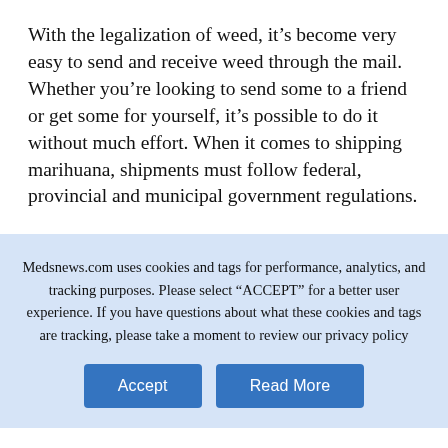With the legalization of weed, it's become very easy to send and receive weed through the mail. Whether you're looking to send some to a friend or get some for yourself, it's possible to do it without much effort. When it comes to shipping marihuana, shipments must follow federal, provincial and municipal government regulations.
Medsnews.com uses cookies and tags for performance, analytics, and tracking purposes. Please select "ACCEPT" for a better user experience. If you have questions about what these cookies and tags are tracking, please take a moment to review our privacy policy